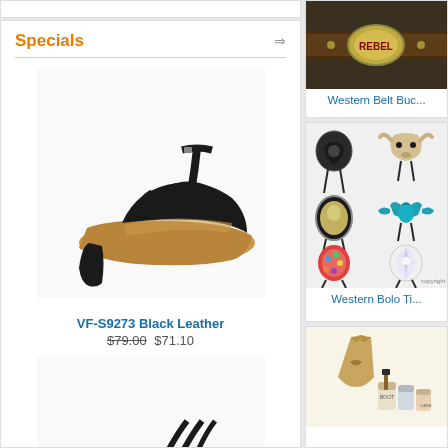Specials
[Figure (photo): Black leather Latin/ballroom dance heels (VF-S9273), strappy T-bar style with block heel]
VF-S9273 Black Leather
$79.00  $71.10
[Figure (photo): Black satin strappy Latin dance shoes with stiletto heel]
[Figure (photo): Western Belt Buckle product image - rebel buckle on leather]
Western Belt Buc...
[Figure (photo): Western Bolo Ties collection - multiple ornate bolo tie slides]
Western Bolo Ti...
[Figure (photo): Boot care products set with applicators and polishes]